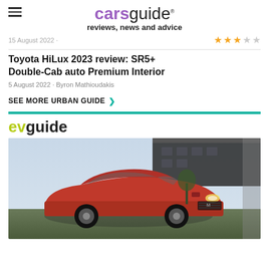carsguide reviews, news and advice
15 August 2022 ·
Toyota HiLux 2023 review: SR5+ Double-Cab auto Premium Interior
5 August 2022 · Byron Mathioudakis
SEE MORE URBAN GUIDE >
[Figure (logo): evguide logo in green and black text]
[Figure (photo): Red Mitsubishi SUV parked in front of a building, front three-quarter view]